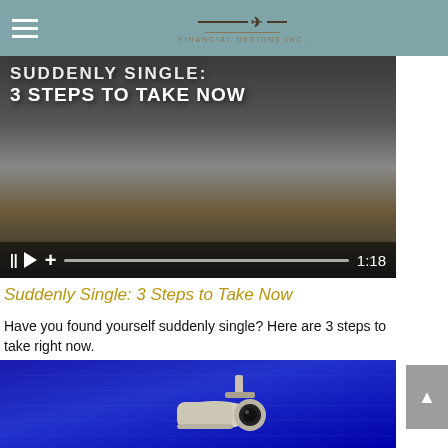Financial Designs Inc.
[Figure (screenshot): Video thumbnail showing a person holding a tablet with drawings, overlaid with title text 'SUDDENLY SINGLE: 3 STEPS TO TAKE NOW' and video controls showing pause, play, add buttons, progress bar, and time 1:18]
Suddenly Single: 3 Steps to Take Now
Have you found yourself suddenly single? Here are 3 steps to take right now.
[Figure (photo): Photo of a security/CCTV camera against a blue background]